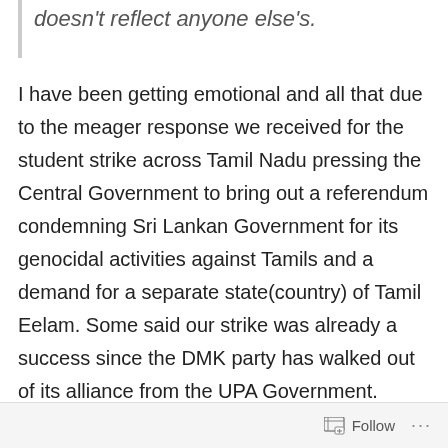doesn't reflect anyone else's.
I have been getting emotional and all that due to the meager response we received for the student strike across Tamil Nadu pressing the Central Government to bring out a referendum condemning Sri Lankan Government for its genocidal activities against Tamils and a demand for a separate state(country) of Tamil Eelam. Some said our strike was already a success since the DMK party has walked out of its alliance from the UPA Government. Some said it to be the greatest student movement since 1965. Was it really a great movement? And if so, why are we still counting on Facebook likes and social media for news delivery? Why hasn't any 24x7 news channel called
Follow ...